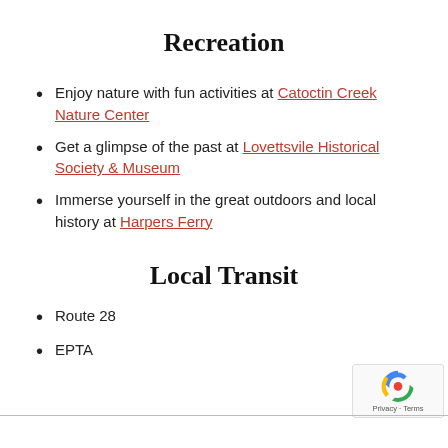Recreation
Enjoy nature with fun activities at Catoctin Creek Nature Center
Get a glimpse of the past at Lovettsvile Historical Society & Museum
Immerse yourself in the great outdoors and local history at Harpers Ferry
Local Transit
Route 28
EPTA